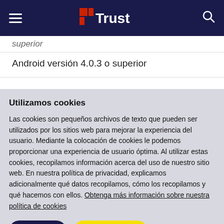[Figure (screenshot): Trust brand navigation bar with hamburger menu, Trust logo (red and white), and search icon on dark navy background]
superior
Android versión 4.0.3 o superior
Utilizamos cookies
Las cookies son pequeños archivos de texto que pueden ser utilizados por los sitios web para mejorar la experiencia del usuario. Mediante la colocación de cookies le podemos proporcionar una experiencia de usuario óptima. Al utilizar estas cookies, recopilamos información acerca del uso de nuestro sitio web. En nuestra política de privacidad, explicamos adicionalmente qué datos recopilamos, cómo los recopilamos y qué hacemos con ellos. Obtenga más información sobre nuestra política de cookies
Rechazar
Aceptar todo
Configuración de cookies'